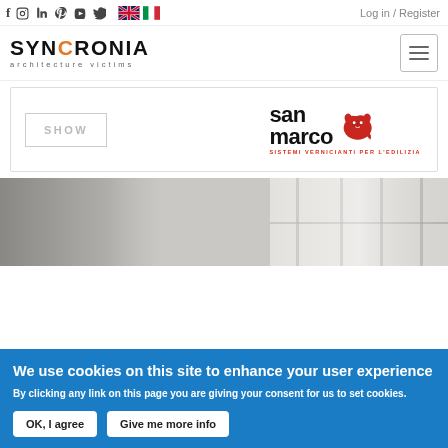Social icons: f, instagram, linkedin, pinterest, youtube, twitter | Language: EN, IT | Log in / Register
[Figure (logo): SYNCRONIA architecture victims logo with hamburger menu button]
[Figure (logo): San Marco sistemi vernicianti per l'edilizia logo with SHOW button]
[Figure (photo): Interior photo showing textured wall and window frames]
We use cookies on this site to enhance your user experience
By clicking any link on this page you are giving your consent for us to set cookies.
OK, I agree | Give me more info